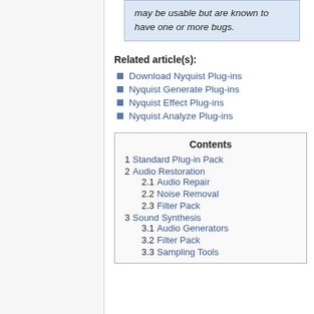may be usable but are known to have one or more bugs.
Related article(s):
Download Nyquist Plug-ins
Nyquist Generate Plug-ins
Nyquist Effect Plug-ins
Nyquist Analyze Plug-ins
| # | Contents |
| --- | --- |
| 1 | Standard Plug-in Pack |
| 2 | Audio Restoration |
| 2.1 | Audio Repair |
| 2.2 | Noise Removal |
| 2.3 | Filter Pack |
| 3 | Sound Synthesis |
| 3.1 | Audio Generators |
| 3.2 | Filter Pack |
| 3.3 | Sampling Tools |